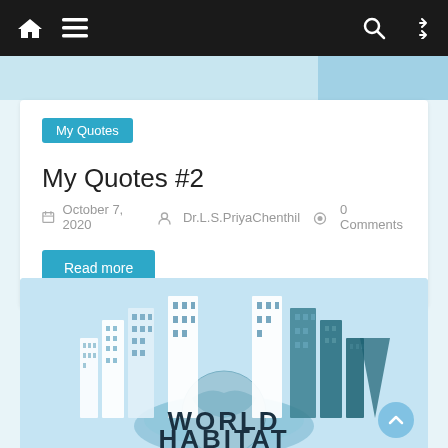Navigation bar with home, menu, search, and shuffle icons
My Quotes
My Quotes #2
October 7, 2020  Dr.L.S.PriyaChenthil  0 Comments
Read more
[Figure (illustration): World Habitat Day illustration showing a globe with city buildings rising from it, on a light blue background. Text reads WORLD HABITAT in bold dark letters at the bottom.]